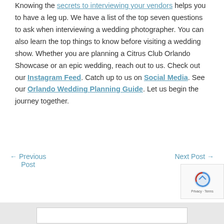Knowing the secrets to interviewing your vendors helps you to have a leg up. We have a list of the top seven questions to ask when interviewing a wedding photographer. You can also learn the top things to know before visiting a wedding show. Whether you are planning a Citrus Club Orlando Showcase or an epic wedding, reach out to us. Check out our Instagram Feed. Catch up to us on Social Media. See our Orlando Wedding Planning Guide. Let us begin the journey together.
← Previous Post   Next Post →